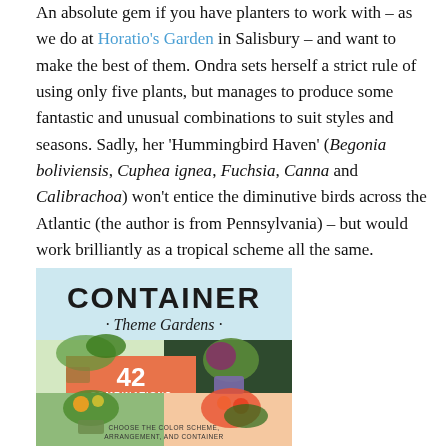An absolute gem if you have planters to work with – as we do at Horatio's Garden in Salisbury – and want to make the best of them. Ondra sets herself a strict rule of using only five plants, but manages to produce some fantastic and unusual combinations to suit styles and seasons. Sadly, her 'Hummingbird Haven' (Begonia boliviensis, Cuphea ignea, Fuchsia, Canna and Calibrachoa) won't entice the diminutive birds across the Atlantic (the author is from Pennsylvania) – but would work brilliantly as a tropical scheme all the same.
[Figure (photo): Book cover of 'Container Theme Gardens' showing 42 combinations each using 5 perfectly matched plants, with photos of container arrangements featuring flowers and foliage.]